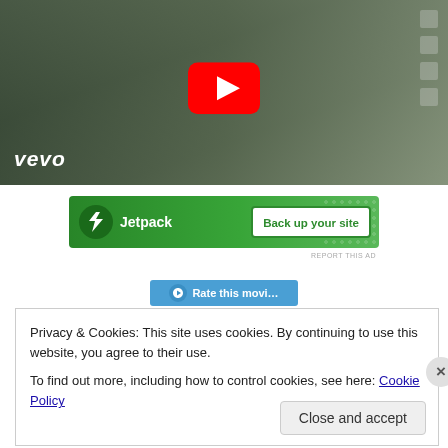[Figure (screenshot): YouTube/Vevo video thumbnail showing a man in a black t-shirt with a YouTube play button overlay and Vevo logo in the lower left]
[Figure (screenshot): Jetpack advertisement banner with green background showing Jetpack logo and 'Back up your site' button]
[Figure (screenshot): Partially visible blue button at top of cookie consent area]
Privacy & Cookies: This site uses cookies. By continuing to use this website, you agree to their use.
To find out more, including how to control cookies, see here: Cookie Policy
Close and accept